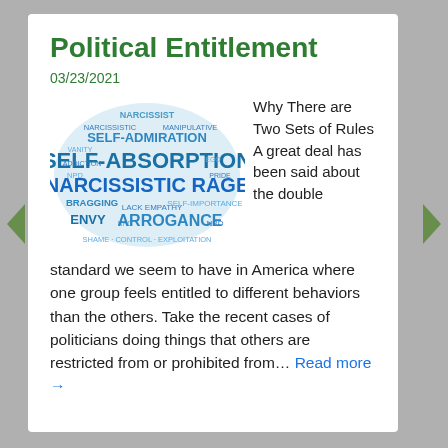Political Entitlement
03/23/2021
[Figure (illustration): Word cloud in an oval shape with narcissism-related terms: NARCISSIST, SELF-ADMIRATION, SELF-ABSORPTION, NARCISSISTIC RAGE, BRAGGING, LACK EMPATHY, SELF-IMPORTANCE, ENVY, ARROGANCE, NPD, and others in various shades of blue]
Why There are Two Sets of Rules A great deal has been said about the double standard we seem to have in America where one group feels entitled to different behaviors than the others. Take the recent cases of politicians doing things that others are restricted from or prohibited from… Read more →